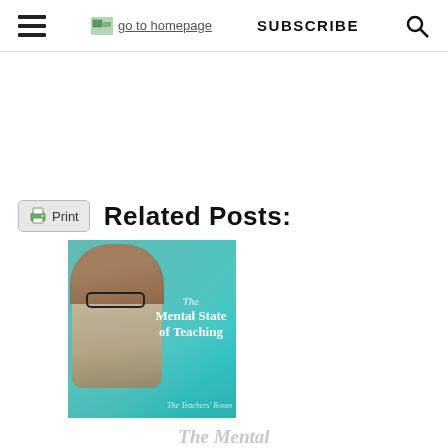go to homepage | SUBSCRIBE
Related Posts:
[Figure (photo): Book cover image showing a woman with glasses and the text 'The Mental State of Teaching - The Teachers Room']
The Mental